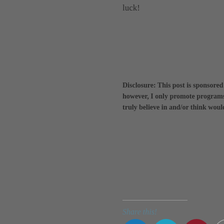luck!
Disclosure: This post is sponsored by Sport Bounce of Loudoun, however, I only promote programs, products, and services that I truly believe in and/or think would appeal to KFDC readers.
Share this!
[Figure (infographic): Row of five social sharing icons: Facebook (blue circle), Twitter (teal circle), Pinterest (dark red circle), Email (gray outlined circle), LinkedIn (dark teal circle)]
Filed under  28 Comments
Birthday Parties, Free, Gradeschoolers, Indoor Play, Preschoolers, Sponsored Post, Toddlers, Virginia,